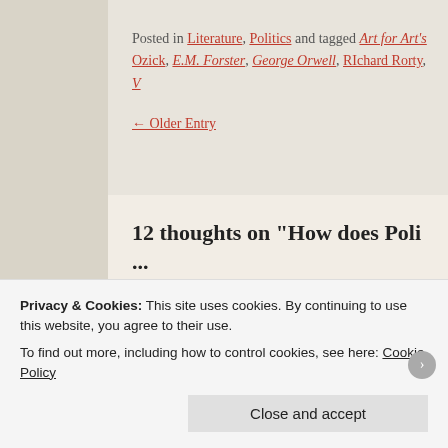Posted in Literature, Politics and tagged Art for Art's Sake, Cynthia Ozick, E.M. Forster, George Orwell, RIchard Rorty, ...
← Older Entry
12 thoughts on “How does Poli... Vice Versa?”
offgridvision on August 9, 2018 at ...
Man you're evolving as a writer – y... subjects! I look forward to the next...
Privacy & Cookies: This site uses cookies. By continuing to use this website, you agree to their use.
To find out more, including how to control cookies, see here: Cookie Policy
Close and accept